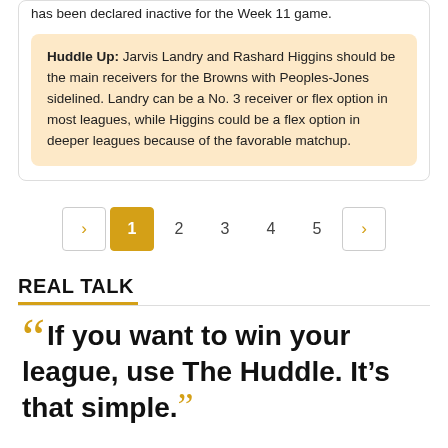has been declared inactive for the Week 11 game.
Huddle Up: Jarvis Landry and Rashard Higgins should be the main receivers for the Browns with Peoples-Jones sidelined. Landry can be a No. 3 receiver or flex option in most leagues, while Higgins could be a flex option in deeper leagues because of the favorable matchup.
< 1 2 3 4 5 >
REAL TALK
“If you want to win your league, use The Huddle. It’s that simple.”